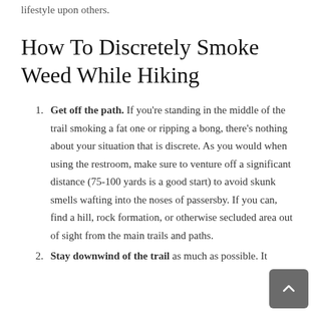lifestyle upon others.
How To Discretely Smoke Weed While Hiking
Get off the path. If you're standing in the middle of the trail smoking a fat one or ripping a bong, there's nothing about your situation that is discrete. As you would when using the restroom, make sure to venture off a significant distance (75-100 yards is a good start) to avoid skunk smells wafting into the noses of passersby. If you can, find a hill, rock formation, or otherwise secluded area out of sight from the main trails and paths.
Stay downwind of the trail as much as possible. It